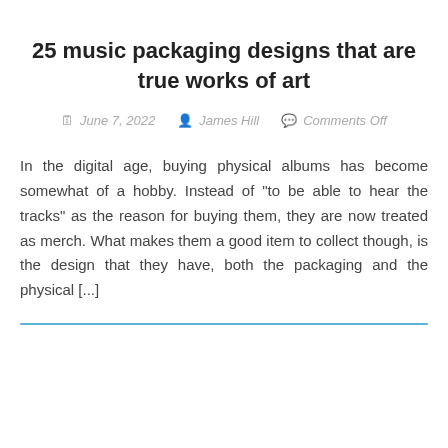25 music packaging designs that are true works of art
June 7, 2022  James Hill  Comments Off
In the digital age, buying physical albums has become somewhat of a hobby. Instead of “to be able to hear the tracks” as the reason for buying them, they are now treated as merch. What makes them a good item to collect though, is the design that they have, both the packaging and the physical [...]